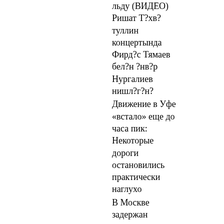льду (ВИДЕО) Ришат Т?хв? туллин концертында Фирд?с Тямаев бел?н ?нв?р Нургалиев нишл?г?н?
Движение в Уфе «встало» еще до часа пик: Некоторые дороги остановились практически наглухо
В Москве задержан таджик, отрезавший ухо охраннику
Счастье испытывают уже % россиян
Ярошук объяснил причину отсутствия в Калининграде